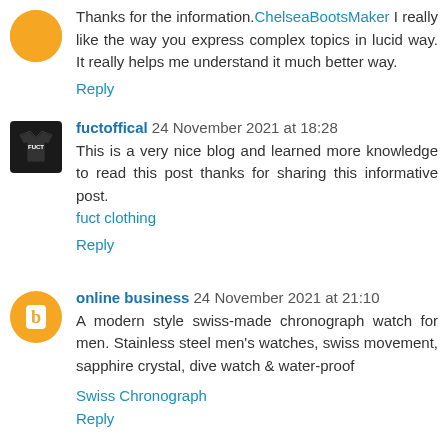Thanks for the information. ChelseaBootsMaker I really like the way you express complex topics in lucid way. It really helps me understand it much better way.
Reply
fuctoffical 24 November 2021 at 18:28
This is a very nice blog and learned more knowledge to read this post thanks for sharing this informative post. fuct clothing
Reply
online business 24 November 2021 at 21:10
A modern style swiss-made chronograph watch for men. Stainless steel men's watches, swiss movement, sapphire crystal, dive watch & water-proof
Swiss Chronograph
Reply